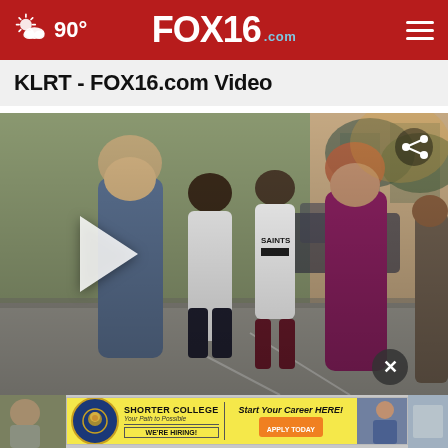90° FOX16.com [navigation header]
KLRT - FOX16.com Video
[Figure (photo): Video thumbnail showing a group of students/people gathered outdoors near a building, some wearing Saints jersey. A play button overlay is visible. Share icon in top right corner.]
[Figure (photo): Advertisement banner for Shorter College: 'Start Your Career HERE! APPLY TODAY. WE'RE HIRING!' with college logo and photo of a person.]